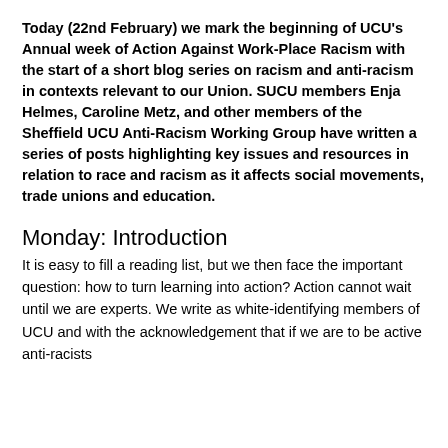Today (22nd February) we mark the beginning of UCU's Annual week of Action Against Work-Place Racism with the start of a short blog series on racism and anti-racism in contexts relevant to our Union. SUCU members Enja Helmes, Caroline Metz, and other members of the Sheffield UCU Anti-Racism Working Group have written a series of posts highlighting key issues and resources in relation to race and racism as it affects social movements, trade unions and education.
Monday: Introduction
It is easy to fill a reading list, but we then face the important question: how to turn learning into action? Action cannot wait until we are experts. We write as white-identifying members of UCU and with the acknowledgement that if we are to be active anti-racists